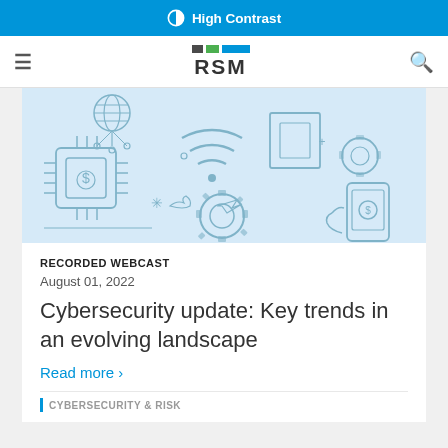High Contrast
[Figure (logo): RSM logo with colored bars above RSM text]
[Figure (illustration): Cybersecurity themed illustration with light blue background showing icons of a microchip, WiFi signal, gears, smartphone with dollar sign, globe network, and other tech symbols in outline style]
RECORDED WEBCAST
August 01, 2022
Cybersecurity update: Key trends in an evolving landscape
Read more ›
CYBERSECURITY & RISK